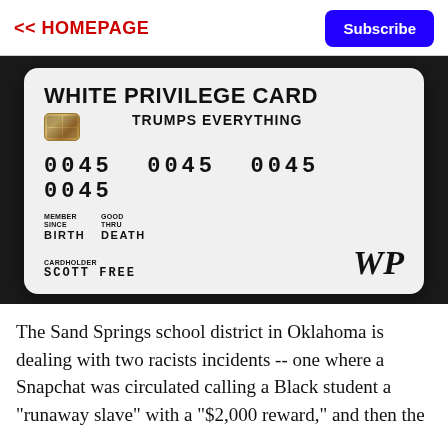<< HOMEPAGE | Subscribe
[Figure (photo): A 'White Privilege Card' novelty card held in someone's hand. The card reads: WHITE PRIVILEGE CARD TRUMPS EVERYTHING, with a chip, number 0045 0045 0045 0045, MEMBER SINCE BIRTH, GOOD THRU DEATH, CARDHOLDER SCOTT FREE, and a WP logo.]
The Sand Springs school district in Oklahoma is dealing with two racists incidents -- one where a Snapchat was circulated calling a Black student a "runaway slave" with a "$2,000 reward," and then the